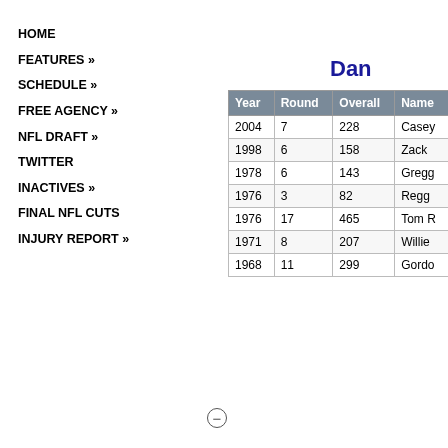HOME
FEATURES »
SCHEDULE »
FREE AGENCY »
NFL DRAFT »
TWITTER
INACTIVES »
FINAL NFL CUTS
INJURY REPORT »
Dan
| Year | Round | Overall | Name |
| --- | --- | --- | --- |
| 2004 | 7 | 228 | Casey |
| 1998 | 6 | 158 | Zack |
| 1978 | 6 | 143 | Gregg |
| 1976 | 3 | 82 | Regg |
| 1976 | 17 | 465 | Tom R |
| 1971 | 8 | 207 | Willie |
| 1968 | 11 | 299 | Gordo |